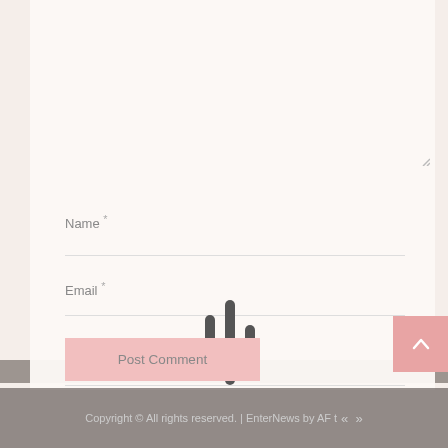Name *
Email *
[Figure (other): Loading spinner with three vertical bars of different heights in dark gray]
Website
Post Comment
Copyright © All rights reserved. | EnterNews by AF t « »